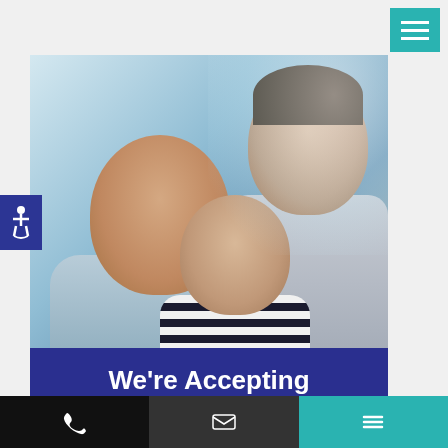[Figure (photo): Happy family of three — father, mother, and young child — sitting together and smiling, looking at something together. Photo used in medical/healthcare context.]
We're Accepting New Patients!
Contact us today to book your first appointment at